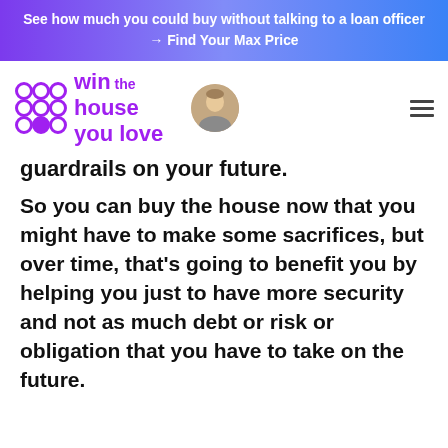See how much you could buy without talking to a loan officer → Find Your Max Price
[Figure (logo): Win the House You Love logo with purple flower/dot grid icon and purple text, alongside a circular avatar photo of a man]
guardrails on your future.
So you can buy the house now that you might have to make some sacrifices, but over time, that's going to benefit you by helping you just to have more security and not as much debt or risk or obligation that you have to take on the future.